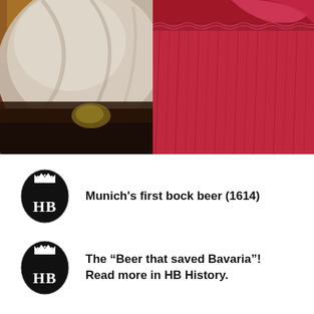[Figure (photo): Close-up photo showing Bavarian traditional clothing — grey/beige fabric or lederhosen apron on the left, a vibrant red/pink pleated dirndl skirt on the right, with a dark aged wooden table or chest in the foreground and a beer glass partially visible in the upper left.]
Munich's first bock beer (1614)
The “Beer that saved Bavaria”! Read more in HB History.